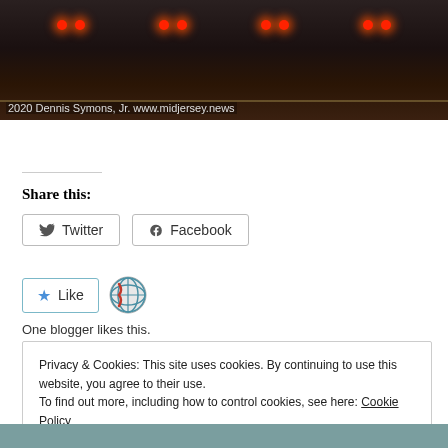[Figure (photo): Night traffic photo showing cars with red taillights on a road, dark background. Caption reads: 2020 Dennis Symons, Jr. www.midjersey.news]
2020 Dennis Symons, Jr. www.midjersey.news
Share this:
Twitter
Facebook
Like
One blogger likes this.
Privacy & Cookies: This site uses cookies. By continuing to use this website, you agree to their use.
To find out more, including how to control cookies, see here: Cookie Policy
Close and accept